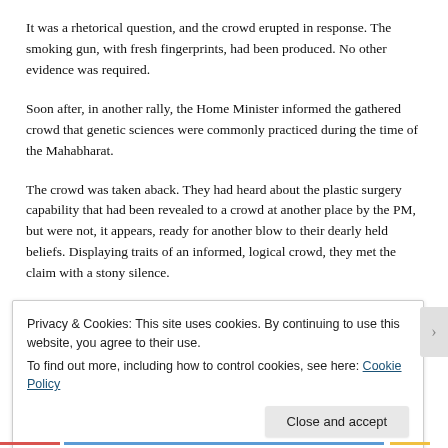It was a rhetorical question, and the crowd erupted in response. The smoking gun, with fresh fingerprints, had been produced. No other evidence was required.
Soon after, in another rally, the Home Minister informed the gathered crowd that genetic sciences were commonly practiced during the time of the Mahabharat.
The crowd was taken aback. They had heard about the plastic surgery capability that had been revealed to a crowd at another place by the PM, but were not, it appears, ready for another blow to their dearly held beliefs. Displaying traits of an informed, logical crowd, they met the claim with a stony silence.
Advertisements
Privacy & Cookies: This site uses cookies. By continuing to use this website, you agree to their use.
To find out more, including how to control cookies, see here: Cookie Policy
Close and accept